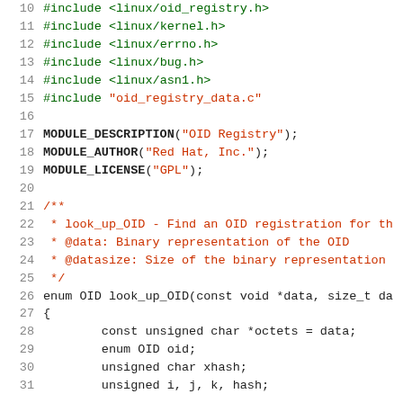[Figure (screenshot): Source code listing showing C code lines 10-31 with line numbers, including #include directives, module macros, a doc comment, and start of look_up_OID function]